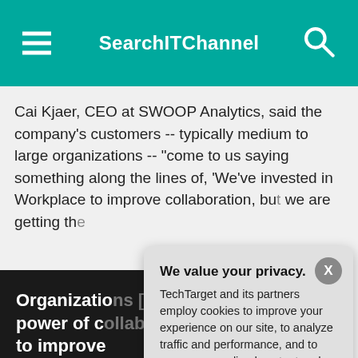SearchITChannel
Cai Kjaer, CEO at SWOOP Analytics, said the company's customers -- typically medium to large organizations -- "come to us saying something along the lines of, 'We've invested in Workplace to improve collaboration, bu[t] we are getting th[e]...
Organizations [unleash the] power of c[ollaboration] to improve [internal] communic[ations]
Cai Kjaer
CEO at SWOOP[Analytics]
We value your privacy.
TechTarget and its partners employ cookies to improve your experience on our site, to analyze traffic and performance, and to serve personalized content and advertising that are relevant to your professional interests. You can manage your settings at any time. Please view our Privacy Policy for more information